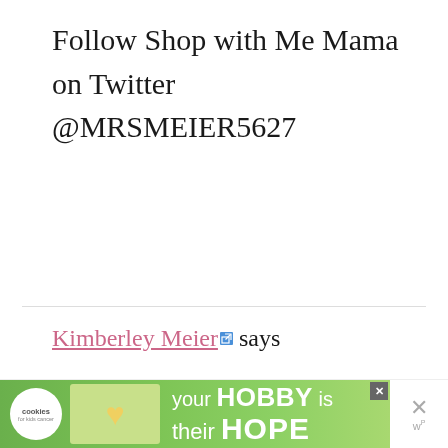Follow Shop with Me Mama on Twitter @MRSMEIER5627
Kimberley Meier says
July 13, 2011 at 6:22 pm
Follow on GFC (KIMBERLEYMEIER)
[Figure (other): Advertisement banner: cookies for kids cancer - your HOBBY is their HOPE]